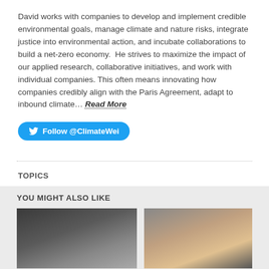David works with companies to develop and implement credible environmental goals, manage climate and nature risks, integrate justice into environmental action, and incubate collaborations to build a net-zero economy.  He strives to maximize the impact of our applied research, collaborative initiatives, and work with individual companies. This often means innovating how companies credibly align with the Paris Agreement, adapt to inbound climate… Read More
Follow @ClimateWei
TOPICS
#Climate Change
YOU MIGHT ALSO LIKE
[Figure (photo): Two city building photos side by side — left is dark/dramatic urban buildings, right is lighter warm-toned city buildings]